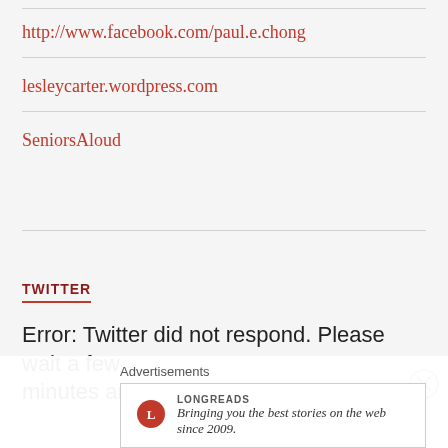http://www.facebook.com/paul.e.chong
lesleycarter.wordpress.com
SeniorsAloud
TWITTER
Error: Twitter did not respond. Please wait a few minutes and refresh this page.
Advertisements
Bringing you the best stories on the web since 2009.